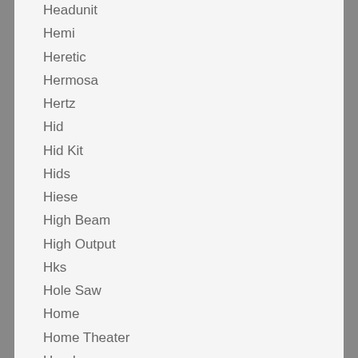Headunit
Hemi
Heretic
Hermosa
Hertz
Hid
Hid Kit
Hids
Hiese
High Beam
High Output
Hks
Hole Saw
Home
Home Theater
Honda
Hood Scoop
Horn
Horse Power